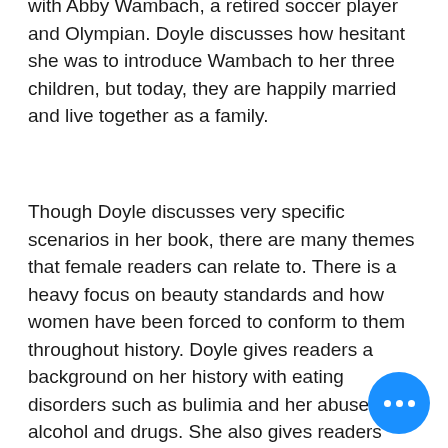with Abby Wambach, a retired soccer player and Olympian. Doyle discusses how hesitant she was to introduce Wambach to her three children, but today, they are happily married and live together as a family.
Though Doyle discusses very specific scenarios in her book, there are many themes that female readers can relate to. There is a heavy focus on beauty standards and how women have been forced to conform to them throughout history. Doyle gives readers a background on her history with eating disorders such as bulimia and her abuse of alcohol and drugs. She also gives readers insight on how she overcame these bad habits that had such a profound negative impact on her life.